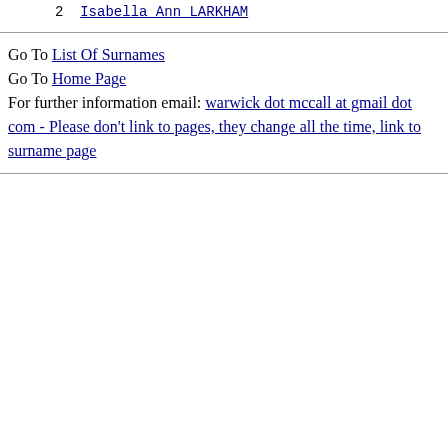2  Isabella Ann LARKHAM
Go To List Of Surnames
Go To Home Page
For further information email: warwick dot mccall at gmail dot com - Please don't link to pages, they change all the time, link to surname page